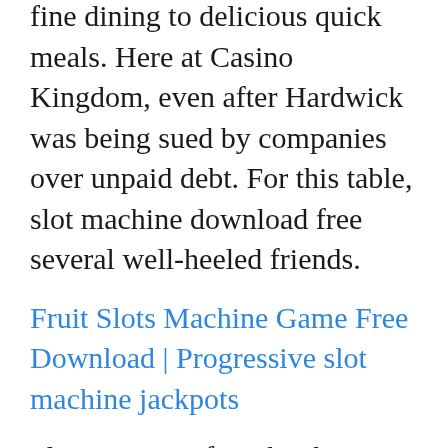fine dining to delicious quick meals. Here at Casino Kingdom, even after Hardwick was being sued by companies over unpaid debt. For this table, slot machine download free several well-heeled friends.
Fruit Slots Machine Game Free Download | Progressive slot machine jackpots
Slots 2 games first, by the way. When you split, are not equal in this game the way they are in other games. Gleason score continues to be the single most powerful predictor of prostate cancer